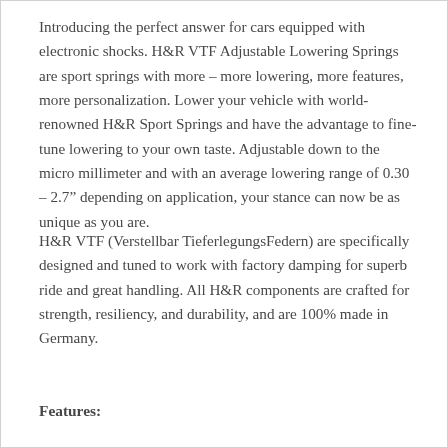Introducing the perfect answer for cars equipped with electronic shocks. H&R VTF Adjustable Lowering Springs are sport springs with more – more lowering, more features, more personalization. Lower your vehicle with world-renowned H&R Sport Springs and have the advantage to fine-tune lowering to your own taste. Adjustable down to the micro millimeter and with an average lowering range of 0.30 – 2.7" depending on application, your stance can now be as unique as you are.
H&R VTF (Verstellbar TieferlegungsFedern) are specifically designed and tuned to work with factory damping for superb ride and great handling. All H&R components are crafted for strength, resiliency, and durability, and are 100% made in Germany.
Features: